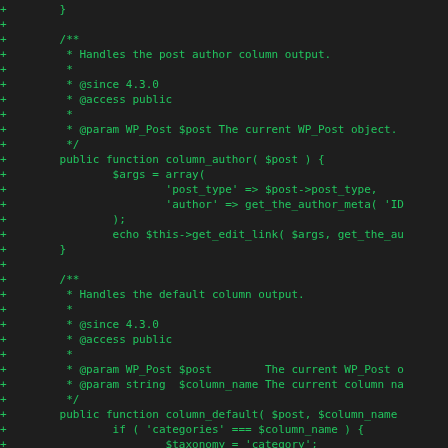[Figure (screenshot): A code diff screenshot showing PHP code in green on dark background. Shows class methods column_author() and column_default() with PHPDoc comments, each prefixed with + diff markers indicating added lines.]